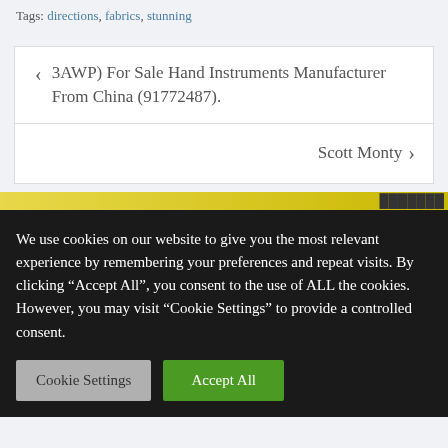Tags: directions, fabrics, stunning
< 3AWP) For Sale Hand Instruments Manufacturer From China (91772487).
Scott Monty >
We use cookies on our website to give you the most relevant experience by remembering your preferences and repeat visits. By clicking "Accept All", you consent to the use of ALL the cookies. However, you may visit "Cookie Settings" to provide a controlled consent.
Cookie Settings
Accept All